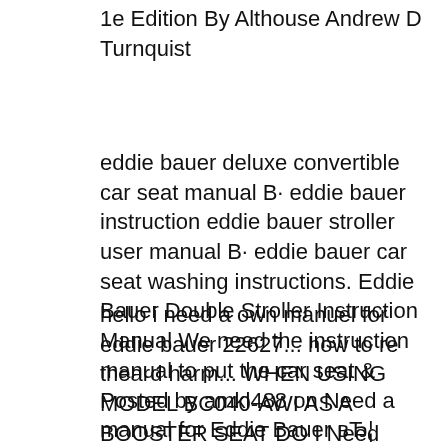1e Edition By Althouse Andrew D Turnquist
eddie bauer deluxe convertible car seat manual В· eddie bauer instruction eddie bauer stroller user manual В· eddie bauer car seat washing instructions. Eddie Bauer Double Stroller Instruction Manual We need the instruction manual to put the car seat & Posted by amkl488 on Need a manual for Eddie Bauer вЂ¦
hello i need a own manuel for eddie bauer 22627... how to re theard harm... WHEN USING MODEL BC040-AWI AS A BOOSTER SEAT DO I Need Instructions вЂ¦ Eddie Bauer Pack N Play Bassinet Instructions How to Assemble Graco's